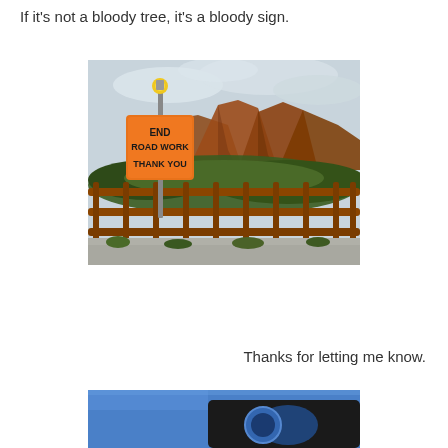If it's not a bloody tree, it's a bloody sign.
[Figure (photo): Outdoor photo showing an orange road construction sign reading 'END ROAD WORK THANK YOU' on a pole with a flashing light, in front of a rustic metal fence/railing, with red rock buttes and green desert vegetation in the background under a cloudy sky.]
Thanks for letting me know.
[Figure (photo): Partial photo showing what appears to be a blue vehicle or object with a circular element visible, cropped at the bottom of the page.]